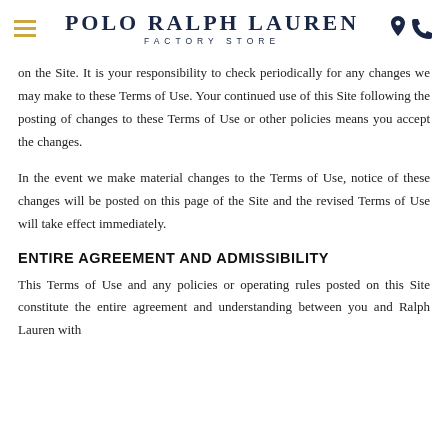Polo Ralph Lauren Factory Store
on the Site. It is your responsibility to check periodically for any changes we may make to these Terms of Use. Your continued use of this Site following the posting of changes to these Terms of Use or other policies means you accept the changes.
In the event we make material changes to the Terms of Use, notice of these changes will be posted on this page of the Site and the revised Terms of Use will take effect immediately.
ENTIRE AGREEMENT AND ADMISSIBILITY
This Terms of Use and any policies or operating rules posted on this Site constitute the entire agreement and understanding between you and Ralph Lauren with